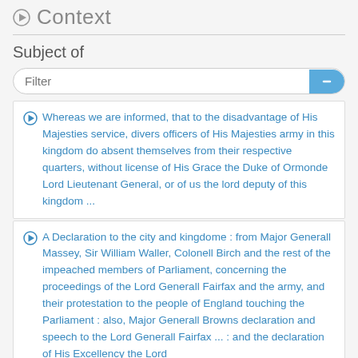Context
Subject of
Filter
Whereas we are informed, that to the disadvantage of His Majesties service, divers officers of His Majesties army in this kingdom do absent themselves from their respective quarters, without license of His Grace the Duke of Ormonde Lord Lieutenant General, or of us the lord deputy of this kingdom ...
A Declaration to the city and kingdome : from Major Generall Massey, Sir William Waller, Colonell Birch and the rest of the impeached members of Parliament, concerning the proceedings of the Lord Generall Fairfax and the army, and their protestation to the people of England touching the Parliament : also, Major Generall Browns declaration and speech to the Lord Generall Fairfax ... : and the declaration of His Excellency the Lord